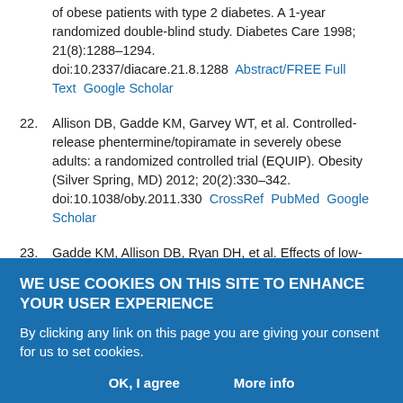of obese patients with type 2 diabetes. A 1-year randomized double-blind study. Diabetes Care 1998; 21(8):1288–1294. doi:10.2337/diacare.21.8.1288  Abstract/FREE Full Text  Google Scholar
22. Allison DB, Gadde KM, Garvey WT, et al. Controlled-release phentermine/topiramate in severely obese adults: a randomized controlled trial (EQUIP). Obesity (Silver Spring, MD) 2012; 20(2):330–342. doi:10.1038/oby.2011.330  CrossRef  PubMed  Google Scholar
23. Gadde KM, Allison DB, Ryan DH, et al. Effects of low-dose, controlled-release, phentermine plus topiramate combination on weight and associated comorbidities in overweight and obese adults (CONQUER): a randomised, placebo-controlled, phase 3 trial. Lancet 2011; 377(9774):1341–1352. doi:10.1016/S0140-6736(11)60205-5 Erratum in: Lancet 2011;377(9776):1494.  CrossRef  PubMed  Google Scholar
WE USE COOKIES ON THIS SITE TO ENHANCE YOUR USER EXPERIENCE
By clicking any link on this page you are giving your consent for us to set cookies.
OK, I agree    More info